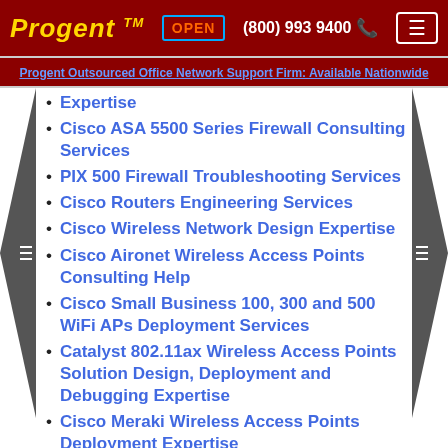Progent™ OPEN (800) 993 9400 [menu]
Progent Outsourced Office Network Support Firm: Available Nationwide
Expertise
Cisco ASA 5500 Series Firewall Consulting Services
PIX 500 Firewall Troubleshooting Services
Cisco Routers Engineering Services
Cisco Wireless Network Design Expertise
Cisco Aironet Wireless Access Points Consulting Help
Cisco Small Business 100, 300 and 500 WiFi APs Deployment Services
Catalyst 802.11ax Wireless Access Points Solution Design, Deployment and Debugging Expertise
Cisco Meraki Wireless Access Points Deployment Expertise